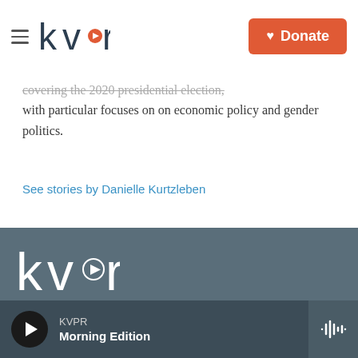kvpr — Donate
covering the 2020 presidential election, with particular focuses on on economic policy and gender politics.
See stories by Danielle Kurtzleben
kvpr — KVPR Morning Edition